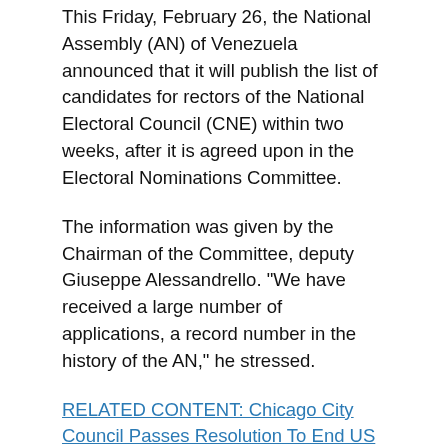This Friday, February 26, the National Assembly (AN) of Venezuela announced that it will publish the list of candidates for rectors of the National Electoral Council (CNE) within two weeks, after it is agreed upon in the Electoral Nominations Committee.
The information was given by the Chairman of the Committee, deputy Giuseppe Alessandrello. "We have received a large number of applications, a record number in the history of the AN," he stressed.
RELATED CONTENT: Chicago City Council Passes Resolution To End US Blockade on Cuba
"The next step is the evaluation of each and every one of them," he continued. "We will need approximately 12 days, and once it gets completed we will publish the list," he said, while highlighting that the submission of a record number of applications demonstrates "the participatory spirit of the Venezuelan people" and the confidence of the people in the institutions of the State.
The Vice President of the Committee, José Gregorio Correa, said that they are considering the necessary time to reach consensus. "We are already 'on the way' and nothing will stop us. What the country needs is